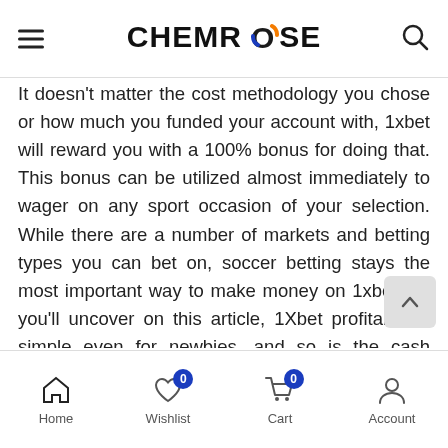CHEMROSE
It doesn't matter the cost methodology you chose or how much you funded your account with, 1xbet will reward you with a 100% bonus for doing that. This bonus can be utilized almost immediately to wager on any sport occasion of your selection. While there are a number of markets and betting types you can bet on, soccer betting stays the most important way to make money on 1xbet. As you'll uncover on this article, 1Xbet profitable is simple even for newbies, and so is the cash withdrawal also. 1XBet Nigeria is amongst the main sports activities betting companies where sports activities lovers can get rewarded for his or her passion. Wagering bonuses, be sure to use legitimate types of bets with the specified variety of occasions and sure odds.
Home  Wishlist  Cart  Account